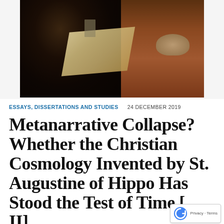[Figure (photo): A classical painting depicting a robed monk or saint (likely St. Augustine) in dark robes holding a quill and a cross, with an open book/parchment, and a skull visible in the background on a reddish surface.]
ESSAYS, DISSERTATIONS AND STUDIES   24 DECEMBER 2019
Metanarrative Collapse? Whether the Christian Cosmology Invented by St. Augustine of Hippo Has Stood the Test of Time [...]